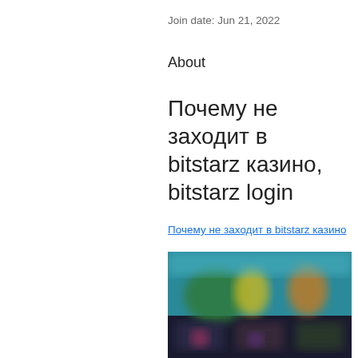Join date: Jun 21, 2022
About
Почему не заходит в bitstarz казино, bitstarz login
Почему не заходит в bitstarz казино
[Figure (photo): Blurred screenshot of a gaming/casino website interface with colorful graphics and dark background]